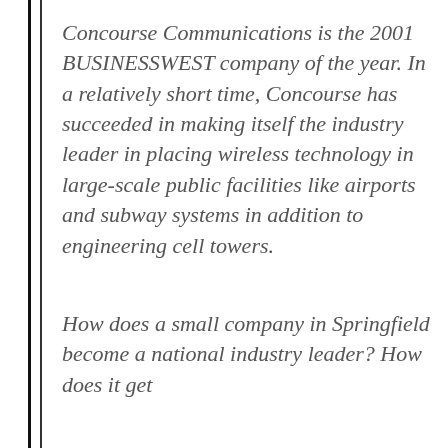Concourse Communications is the 2001 BUSINESSWEST company of the year. In a relatively short time, Concourse has succeeded in making itself the industry leader in placing wireless technology in large-scale public facilities like airports and subway systems in addition to engineering cell towers.
How does a small company in Springfield become a national industry leader? How does it get